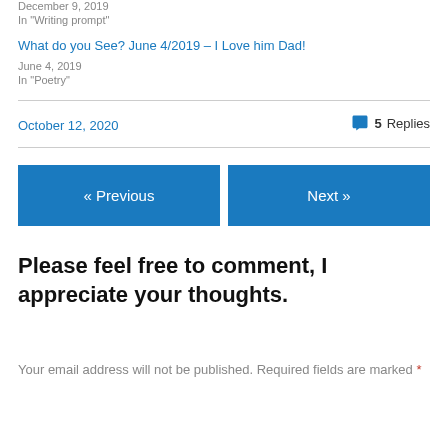December 9, 2019
In "Writing prompt"
What do you See? June 4/2019 – I Love him Dad!
June 4, 2019
In "Poetry"
October 12, 2020
5 Replies
« Previous
Next »
Please feel free to comment, I appreciate your thoughts.
Your email address will not be published. Required fields are marked *